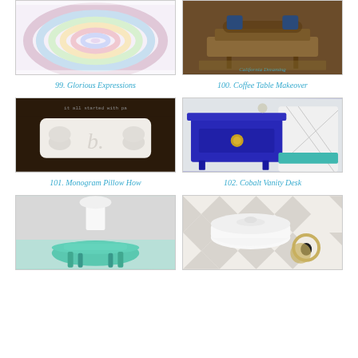[Figure (photo): Colorful braided rug or coiled textile with pastel colors]
99. Glorious Expressions
[Figure (photo): Coffee table makeover, wooden table with blue accents, rug underneath, text reads California Dreaming]
100. Coffee Table Makeover
[Figure (photo): White monogram pillow with letter b and rolled towels on dark background]
101. Monogram Pillow How
[Figure (photo): Cobalt blue vanity desk with gold hardware and white chair with teal cushion]
102. Cobalt Vanity Desk
[Figure (photo): Teal/mint painted round accent table with white lamp]
[Figure (photo): White ceramic lidded dish with harlequin diamond pattern tablecloth and small bird silhouette coasters]